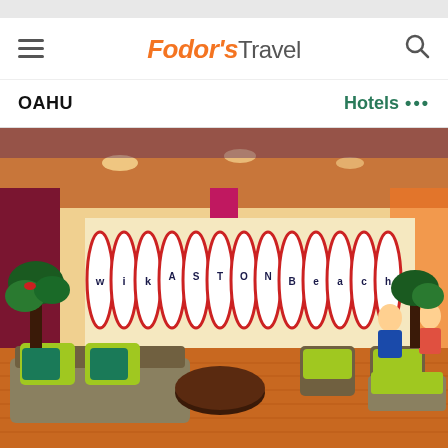Fodor's Travel — OAHU Hotels
[Figure (photo): Hotel lobby of Aston Waikiki Beach hotel showing colorful surfboard wall display spelling out 'Waikiki Beach', green and lime-colored furniture, wooden floors, and tropical decor.]